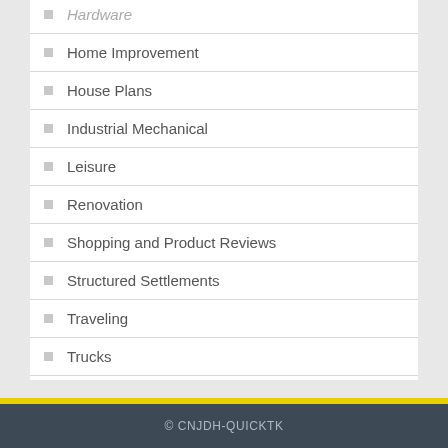Home Improvement
House Plans
Industrial Mechanical
Leisure
Renovation
Shopping and Product Reviews
Structured Settlements
Traveling
Trucks
© CNJDH-QUICKTK